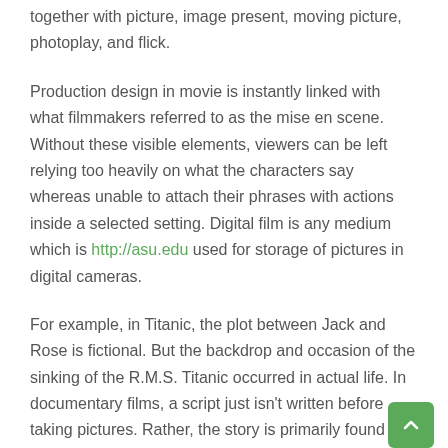together with picture, image present, moving picture, photoplay, and flick.
Production design in movie is instantly linked with what filmmakers referred to as the mise en scene. Without these visible elements, viewers can be left relying too heavily on what the characters say whereas unable to attach their phrases with actions inside a selected setting. Digital film is any medium which is http://asu.edu used for storage of pictures in digital cameras.
For example, in Titanic, the plot between Jack and Rose is fictional. But the backdrop and occasion of the sinking of the R.M.S. Titanic occurred in actual life. In documentary films, a script just isn't written before taking pictures. Rather, the story is primarily found after capturing in publish production by way of modifying. Narrative movies, however, have a